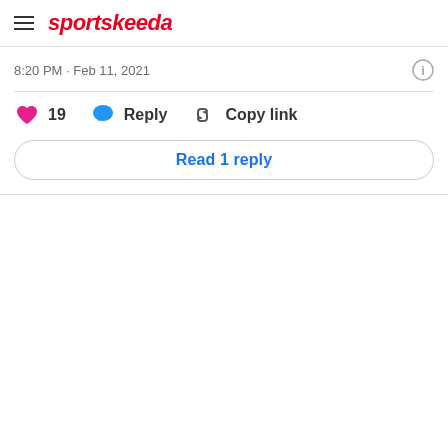sportskeeda
8:20 PM · Feb 11, 2021
19  Reply  Copy link
Read 1 reply